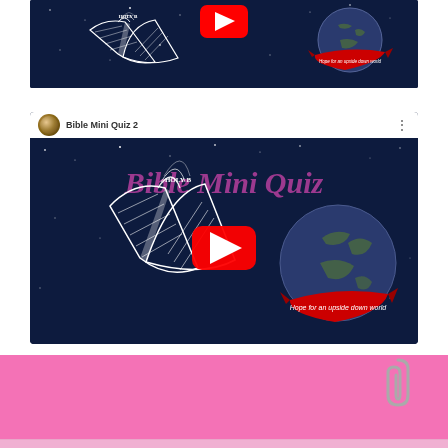[Figure (screenshot): Top portion of a YouTube video thumbnail showing a dark navy background with a white line-art Holy Bible book illustration on the left, a globe with a red banner reading 'Hope for an upside down world' on the right, and a partially visible red YouTube play button at the top center. This appears to be the first Bible Mini Quiz video thumbnail.]
[Figure (screenshot): YouTube video embed showing a video titled 'Bible Mini Quiz 2'. The thumbnail has a dark navy starry background with pink/magenta 'Bible Mini Quiz' text overlay, a white line-art open Holy Bible illustration in the center-left, a globe with red 'Hope for an upside down world' banner in the bottom right, and a large red YouTube play button in the center. Top bar shows channel avatar and title 'Bible Mini Quiz 2' with a three-dot menu.]
[Figure (photo): Bottom pink section of the page with a partial white card edge and a paperclip icon visible in the bottom right.]